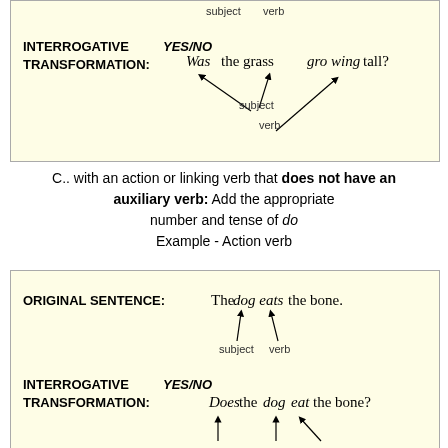[Figure (other): Box showing INTERROGATIVE YES/NO TRANSFORMATION with 'Was the grass growing tall?' diagram with arrows pointing to subject and verb labels]
C.. with an action or linking verb that does not have an auxiliary verb: Add the appropriate number and tense of do
Example - Action verb
[Figure (other): Box showing ORIGINAL SENTENCE 'The dog eats the bone.' with subject/verb arrows, and INTERROGATIVE YES/NO TRANSFORMATION 'Does the dog eat the bone?' with arrows]